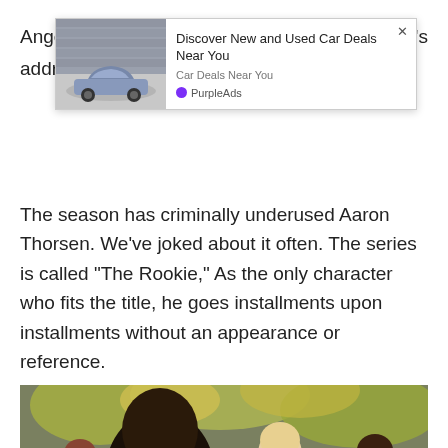Ange… let's addre…
[Figure (screenshot): Advertisement overlay showing a gray car (Toyota Corolla) with text 'Discover New and Used Car Deals Near You', subtitle 'Car Deals Near You', and branding 'PurpleAds' with purple circle icon, and an X close button.]
The season has criminally underused Aaron Thorsen. We've joked about it often. The series is called “The Rookie,” As the only character who fits the title, he goes installments upon installments without an appearance or reference.
[Figure (photo): A scene from The Rookie showing a young Black man in the foreground viewed from the side, with a group of people including a blonde woman and an Asian woman standing in an outdoor setting with trees in the background.]